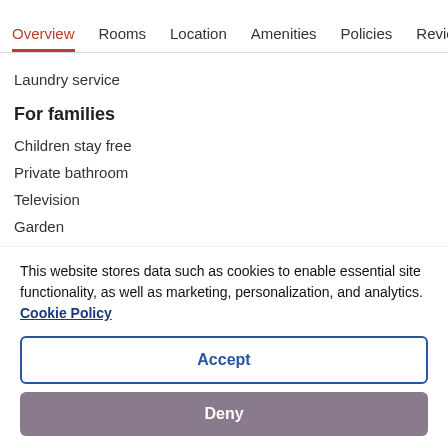Overview  Rooms  Location  Amenities  Policies  Reviews
Laundry service
For families
Children stay free
Private bathroom
Television
Garden
Daily housekeeping
This website stores data such as cookies to enable essential site functionality, as well as marketing, personalization, and analytics. Cookie Policy
Accept
Deny